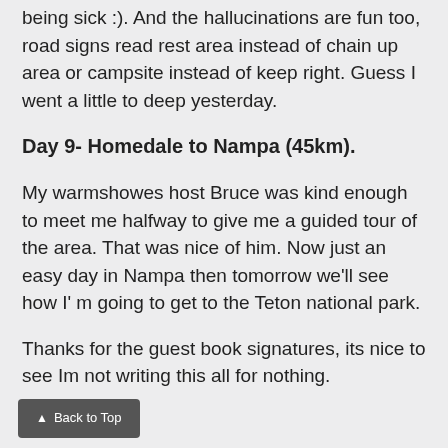being sick :). And the hallucinations are fun too, road signs read rest area instead of chain up area or campsite instead of keep right. Guess I went a little to deep yesterday.
Day 9- Homedale to Nampa (45km).
My warmshowes host Bruce was kind enough to meet me halfway to give me a guided tour of the area. That was nice of him. Now just an easy day in Nampa then tomorrow we'll see how I' m going to get to the Teton national park.
Thanks for the guest book signatures, its nice to see Im not writing this all for nothing.
▲ Back to Top